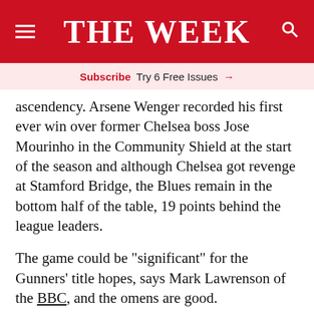THE WEEK
Subscribe  Try 6 Free Issues →
ascendency. Arsene Wenger recorded his first ever win over former Chelsea boss Jose Mourinho in the Community Shield at the start of the season and although Chelsea got revenge at Stamford Bridge, the Blues remain in the bottom half of the table, 19 points behind the league leaders.
The game could be "significant" for the Gunners' title hopes, says Mark Lawrenson of the BBC, and the omens are good.
Wenger has his two most potent attacking weapons, Mesut Ozil and Alexis Sanchez, back at his disposal